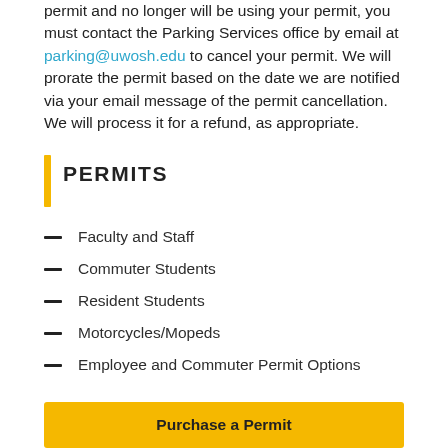permit and no longer will be using your permit, you must contact the Parking Services office by email at parking@uwosh.edu to cancel your permit. We will prorate the permit based on the date we are notified via your email message of the permit cancellation. We will process it for a refund, as appropriate.
PERMITS
Faculty and Staff
Commuter Students
Resident Students
Motorcycles/Mopeds
Employee and Commuter Permit Options
Purchase a Permit